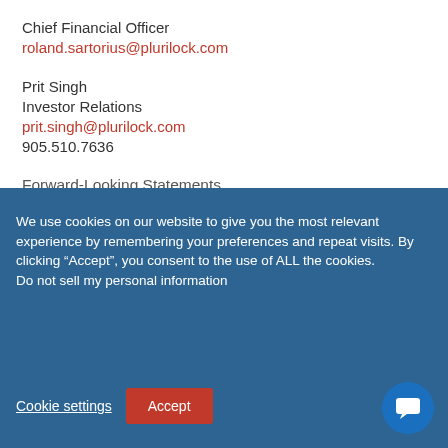Chief Financial Officer
roland.sartorius@plurilock.com
Prit Singh
Investor Relations
prit.singh@plurilock.com
905.510.7636
Forward-Looking Statements
We use cookies on our website to give you the most relevant experience by remembering your preferences and repeat visits. By clicking “Accept”, you consent to the use of ALL the cookies.
Do not sell my personal information
Cookie settings
Accept